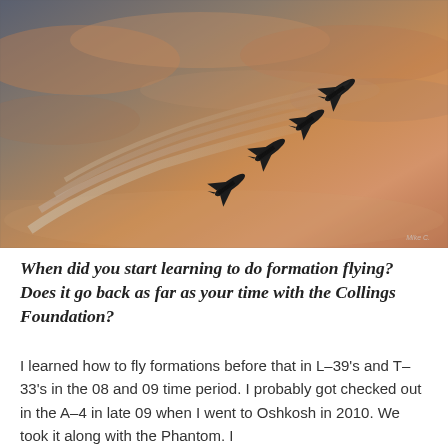[Figure (photo): Four dark military jet aircraft (L-39 or similar) flying in close diamond formation against a warm orange-pink sunset sky, leaving white smoke trails behind them, climbing at an angle from lower-left to upper-right. Photographer watermark visible in lower-right corner.]
When did you start learning to do formation flying? Does it go back as far as your time with the Collings Foundation?
I learned how to fly formations before that in L-39's and T-33's in the 08 and 09 time period. I probably got checked out in the A-4 in late 09 when I went to Oshkosh in 2010. We took it along with the Phantom. I